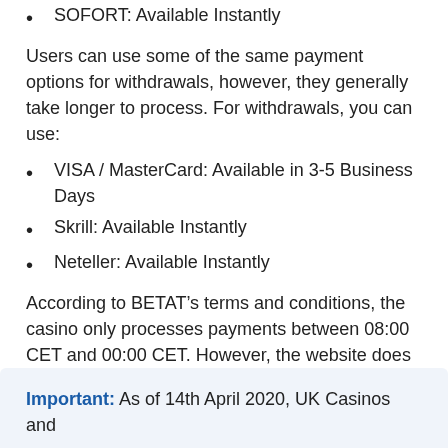SOFORT: Available Instantly
Users can use some of the same payment options for withdrawals, however, they generally take longer to process. For withdrawals, you can use:
VISA / MasterCard: Available in 3-5 Business Days
Skrill: Available Instantly
Neteller: Available Instantly
According to BETAT’s terms and conditions, the casino only processes payments between 08:00 CET and 00:00 CET. However, the website does mention Lightning Fast Payouts which, according to the casino, is only offered to verified members and pays out within 4 hours.
In addition, the maximum withdrawal for non-jackpot winnings is locked at £25,000 a month.
Important: As of 14th April 2020, UK Casinos and